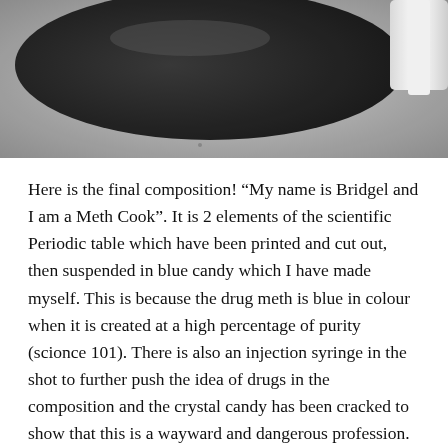[Figure (photo): Close-up photograph of a dark round object (candy/pan) on a grey surface with a white syringe/tube visible at the right edge.]
Here is the final composition! “My name is Bridgel and I am a Meth Cook”. It is 2 elements of the scientific Periodic table which have been printed and cut out, then suspended in blue candy which I have made myself. This is because the drug meth is blue in colour when it is created at a high percentage of purity (scionce 101). There is also an injection syringe in the shot to further push the idea of drugs in the composition and the crystal candy has been cracked to show that this is a wayward and dangerous profession.
Even though it would a bit tough to get the technique down and find the ingredients, I still decided to use blue candy which was self made. My initial plan was to use